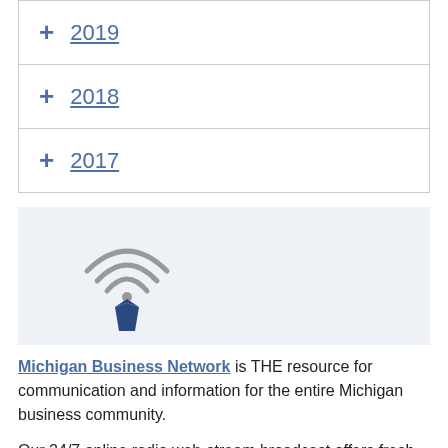+ 2019
+ 2018
+ 2017
[Figure (logo): Michigan Business Network logo with wifi/tie icon above text MICHIGAN BUSINESS NETWORK.COM]
Michigan Business Network is THE resource for communication and information for the entire Michigan business community.
Our 24/7 online radio web-stream broadcast offers fresh programming daily providing listeners the knowledge and